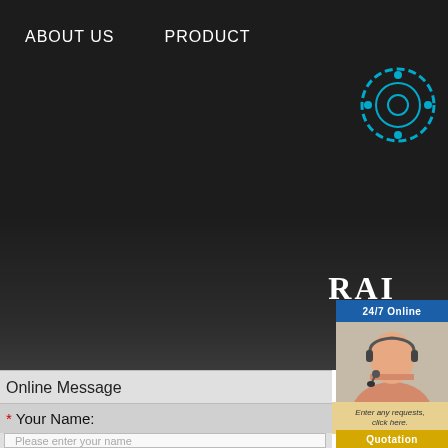ABOUT US   PRODUCT
Online Message
* Your Name:
Please enter your name
* E-Mail Address:
Please enter your e-mail
Country:
NACHI 83TAD
Categories：NACHI be
Please contact Email for any inqu
EMAIl:sale@topbearing-sa
| bearing name: |
| Brand model : |
| outer diameter D : |
| diameter d : |
| thickness B : |